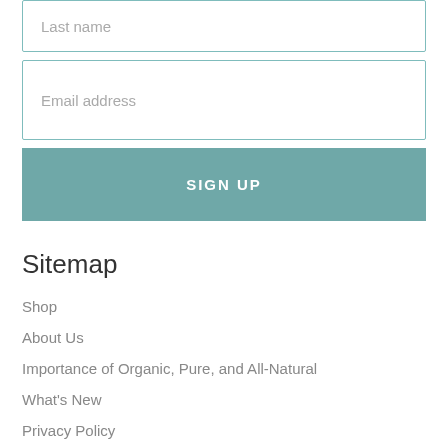Last name
Email address
SIGN UP
Sitemap
Shop
About Us
Importance of Organic, Pure, and All-Natural
What's New
Privacy Policy
Terms of Service
Disclaimer and Safety Advice